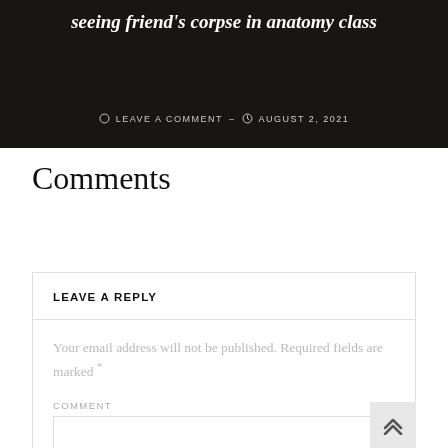[Figure (photo): Dark-toned hero image background of an anatomy classroom with overlaid text. Shows title and metadata on a dark background.]
seeing friend's corpse in anatomy class
LEAVE A COMMENT  –  AUGUST 2, 2021
Comments
LEAVE A REPLY
Your email address will not be published. Required fields are marked *
COMMENT